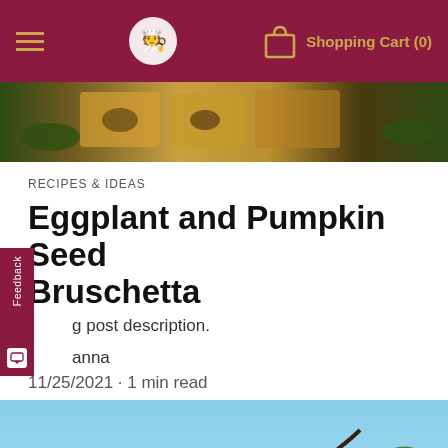Shopping Cart (0)
[Figure (photo): Top banner photo showing toasted bread slices with toppings, close-up food photography]
RECIPES & IDEAS
Eggplant and Pumpkin Seed Bruschetta
g post description.
anna
11/25/2021 · 1 min read
[Figure (photo): Close-up photo of red/pink fruit (resembling small apples or crabapples) growing on a tree with green leaves and branches]